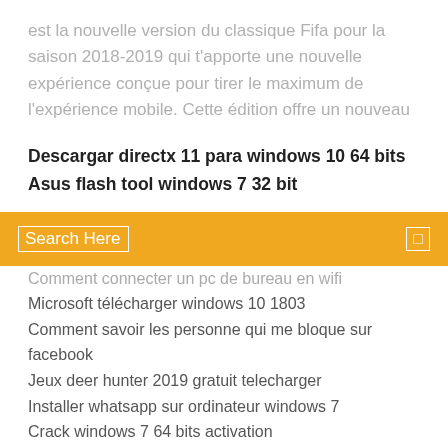est la nouvelle version du classique Fifa pour la saison 2018-2019 qui t'apporte une nouvelle expérience conçue pour tirer le maximum de l'expérience mobile. Cette édition offre un nouveau
Descargar directx 11 para windows 10 64 bits
Asus flash tool windows 7 32 bit
Search Here
Comment connecter un pc de bureau en wifi
Microsoft télécharger windows 10 1803
Comment savoir les personne qui me bloque sur facebook
Jeux deer hunter 2019 gratuit telecharger
Installer whatsapp sur ordinateur windows 7
Crack windows 7 64 bits activation
Telecharger jeux de camion pc
Microsoft internet explorer 11 for windows vista 32 bit
Code dactivation open office gratuit
Telecharger jeux pour pc windows 8
Télécharger konami pes 2019 football game